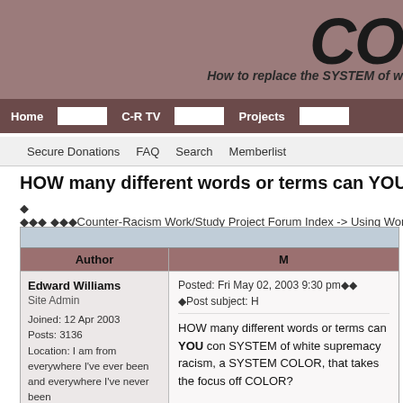CO - How to replace the SYSTEM of w
Home | C-R TV | Projects | Secure Donations | FAQ | Search | Memberlist
HOW many different words or terms can YOU come up w
Counter-Racism Work/Study Project Forum Index -> Using Words C
| Author | M |
| --- | --- |
| Edward Williams
Site Admin

Joined: 12 Apr 2003
Posts: 3136
Location: I am from everywhere I've ever been and everywhere I've never been | Posted: Fri May 02, 2003 9:30 pm Post subject: H

HOW many different words or terms can YOU con SYSTEM of white supremacy racism, a SYSTEM COLOR, that takes the focus off COLOR?

I'll add the first one...

The "N" Word |